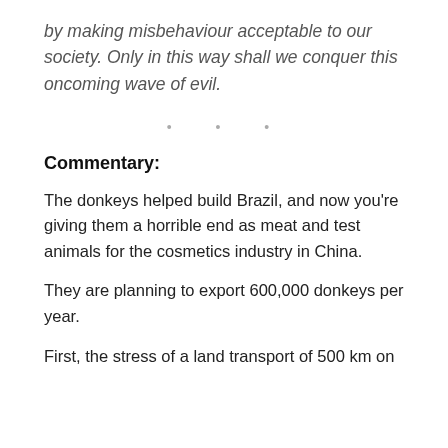by making misbehaviour acceptable to our society. Only in this way shall we conquer this oncoming wave of evil.
• • •
Commentary:
The donkeys helped build Brazil, and now you're giving them a horrible end as meat and test animals for the cosmetics industry in China.
They are planning to export 600,000 donkeys per year.
First, the stress of a land transport of 500 km on